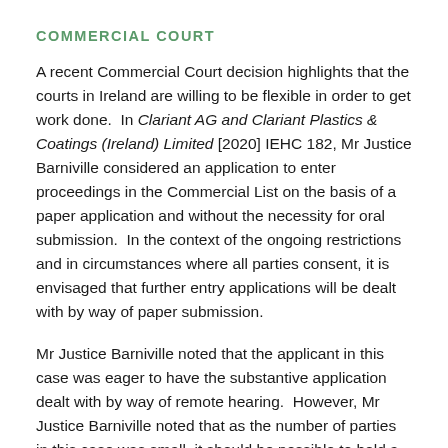COMMERCIAL COURT
A recent Commercial Court decision highlights that the courts in Ireland are willing to be flexible in order to get work done.  In Clariant AG and Clariant Plastics & Coatings (Ireland) Limited [2020] IEHC 182, Mr Justice Barniville considered an application to enter proceedings in the Commercial List on the basis of a paper application and without the necessity for oral submission.  In the context of the ongoing restrictions and in circumstances where all parties consent, it is envisaged that further entry applications will be dealt with by way of paper submission.
Mr Justice Barniville noted that the applicant in this case was eager to have the substantive application dealt with by way of remote hearing.  However, Mr Justice Barniville noted that as the number of parties in this case was small, it should be possible to hold a physical hearing, observing social distancing